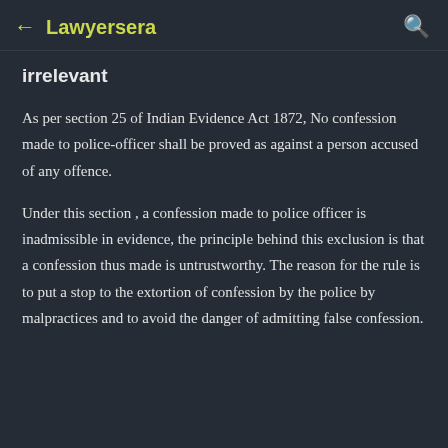← Lawyersera 🔍
irrelevant
As per section 25 of Indian Evidence Act 1872, No confession made to police-officer shall be proved as against a person accused of any offence.
Under this section , a confession made to police officer is inadmissible in evidence, the principle behind this exclusion is that a confession thus made is untrustworthy. The reason for the rule is to put a stop to the extortion of confession by the police by malpractices and to avoid the danger of admitting false confession.